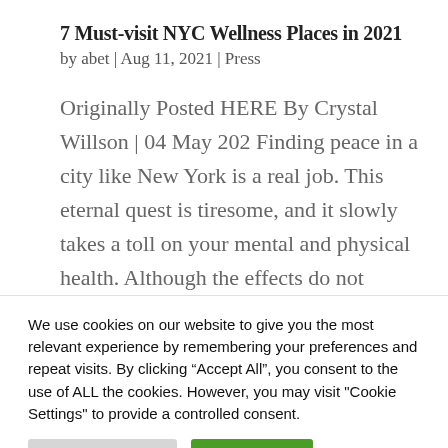7 Must-visit NYC Wellness Places in 2021
by abet | Aug 11, 2021 | Press
Originally Posted HERE By Crystal Willson | 04 May 202 Finding peace in a city like New York is a real job. This eternal quest is tiresome, and it slowly takes a toll on your mental and physical health. Although the effects do not
We use cookies on our website to give you the most relevant experience by remembering your preferences and repeat visits. By clicking “Accept All”, you consent to the use of ALL the cookies. However, you may visit "Cookie Settings" to provide a controlled consent.
Cookie Settings
Accept All